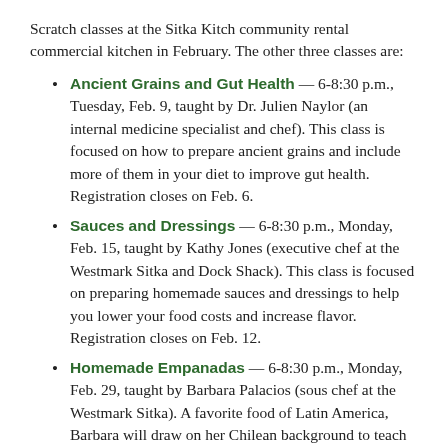Scratch classes at the Sitka Kitch community rental commercial kitchen in February. The other three classes are:
Ancient Grains and Gut Health — 6-8:30 p.m., Tuesday, Feb. 9, taught by Dr. Julien Naylor (an internal medicine specialist and chef). This class is focused on how to prepare ancient grains and include more of them in your diet to improve gut health. Registration closes on Feb. 6.
Sauces and Dressings — 6-8:30 p.m., Monday, Feb. 15, taught by Kathy Jones (executive chef at the Westmark Sitka and Dock Shack). This class is focused on preparing homemade sauces and dressings to help you lower your food costs and increase flavor. Registration closes on Feb. 12.
Homemade Empanadas — 6-8:30 p.m., Monday, Feb. 29, taught by Barbara Palacios (sous chef at the Westmark Sitka). A favorite food of Latin America, Barbara will draw on her Chilean background to teach this delicious homemade empanada class. Empanadas can be